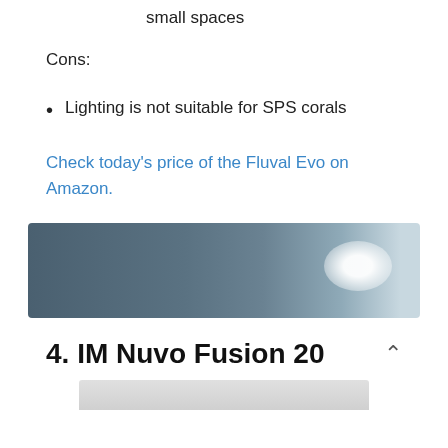small spaces
Cons:
Lighting is not suitable for SPS corals
Check today's price of the Fluval Evo on Amazon.
[Figure (photo): Dark blue-grey banner image with a bright white glowing element on the right side]
4. IM Nuvo Fusion 20
[Figure (photo): Partial view of a product image at the bottom of the page]